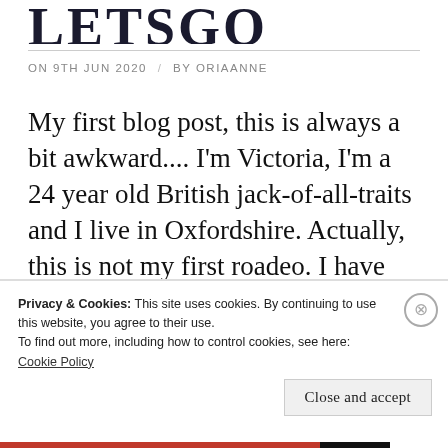LETSGO
ON 9TH JUN 2020 / BY ORIAANNE
My first blog post, this is always a bit awkward.... I'm Victoria, I'm a 24 year old British jack-of-all-traits and I live in Oxfordshire. Actually, this is not my first roadeo. I have written a few blogs over the years, some dating back to 2019 but they
Privacy & Cookies: This site uses cookies. By continuing to use this website, you agree to their use.
To find out more, including how to control cookies, see here:
Cookie Policy
Close and accept